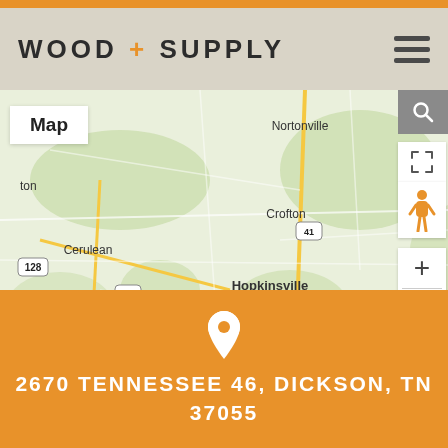WOOD + SUPPLY
[Figure (map): Google Maps view centered around Hopkinsville, KY and Lewisburg, TN area showing roads, towns including Nortonville, Greenville, Crofton, Cerulean, Hopkinsville, Lewisburg, Russellville, Elkton. Shows Map/Satellite toggle, zoom controls, Street View person icon. Map data ©2022 Google.]
2670 TENNESSEE 46, DICKSON, TN 37055